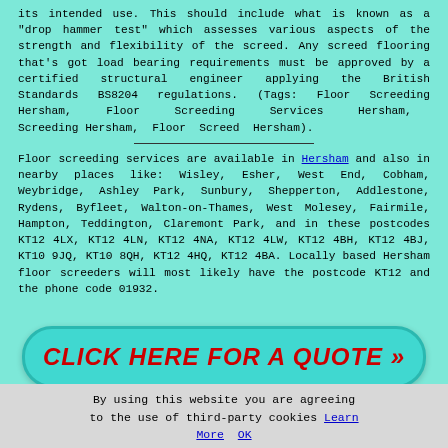its intended use. This should include what is known as a "drop hammer test" which assesses various aspects of the strength and flexibility of the screed. Any screed flooring that's got load bearing requirements must be approved by a certified structural engineer applying the British Standards BS8204 regulations. (Tags: Floor Screeding Hersham, Floor Screeding Services Hersham, Screeding Hersham, Floor Screed Hersham).
Floor screeding services are available in Hersham and also in nearby places like: Wisley, Esher, West End, Cobham, Weybridge, Ashley Park, Sunbury, Shepperton, Addlestone, Rydens, Byfleet, Walton-on-Thames, West Molesey, Fairmile, Hampton, Teddington, Claremont Park, and in these postcodes KT12 4LX, KT12 4LN, KT12 4NA, KT12 4LW, KT12 4BH, KT12 4BJ, KT10 9JQ, KT10 8QH, KT12 4HQ, KT12 4BA. Locally based Hersham floor screeders will most likely have the postcode KT12 and the phone code 01932.
[Figure (other): Cyan rounded rectangle button with red bold italic text: CLICK HERE FOR A QUOTE >>]
By using this website you are agreeing to the use of third-party cookies Learn More  OK